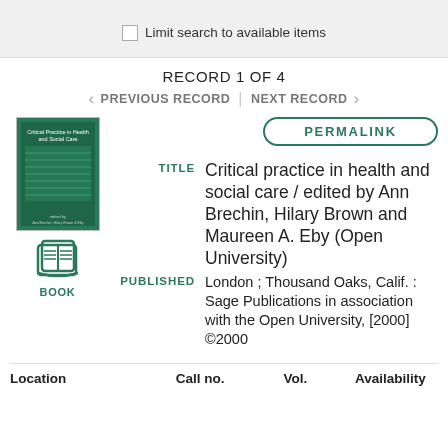Limit search to available items
RECORD 1 OF 4
PREVIOUS RECORD | NEXT RECORD
[Figure (photo): Book cover thumbnail for Critical Practice in Health and Social Care, green cover with title text]
[Figure (illustration): Open book icon in teal/green with label BOOK below]
PERMALINK
TITLE   Critical practice in health and social care / edited by Ann Brechin, Hilary Brown and Maureen A. Eby (Open University)
PUBLISHED   London ; Thousand Oaks, Calif. : Sage Publications in association with the Open University, [2000] ©2000
| Location | Call no. | Vol. | Availability |
| --- | --- | --- | --- |